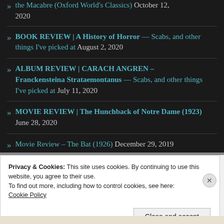the Macabre (Oxford World's Classics)  October 12, 2020
BOOK REVIEW | A History of Horror — Scabs, and other things I've picked at  August 2, 2020
ALBUM REVIEW | CARACH ANGREN – Franckensteina Strataemontanus — Scabs, and other things I've picked at  July 11, 2020
MOVIE REVIEW | The Hunchback of Notre Dame (1923)  June 28, 2020
Movie Review – The Bat (1926)  December 29, 2019
Privacy & Cookies: This site uses cookies. By continuing to use this website, you agree to their use. To find out more, including how to control cookies, see here: Cookie Policy
Close and accept